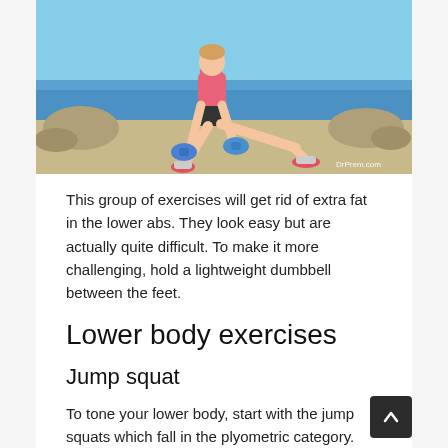[Figure (photo): Woman in pink top performing a lateral lunge stretch with blue dumbbells on a rocky seaside promenade, with the sea and sky in the background. Watermark: DrPrem.com]
This group of exercises will get rid of extra fat in the lower abs. They look easy but are actually quite difficult. To make it more challenging, hold a lightweight dumbbell between the feet.
Lower body exercises
Jump squat
To tone your lower body, start with the jump squats which fall in the plyometric category. These exercises will require you to propel the body into air, and this body weight exercise does wonders for fat burning